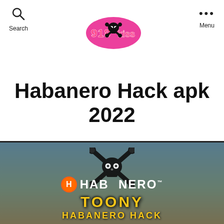Search | 918kiss logo | Menu
Habanero Hack apk 2022
[Figure (screenshot): Habanero game banner showing cartoon animal characters (rabbit, elephant, dog) with Habanero brand logo overlaid with a skull-and-crossbones wrench icon, text reading HABANERO with TM, TOONY, and HABANERO HACK in yellow letters on a dark-tinted colorful background.]